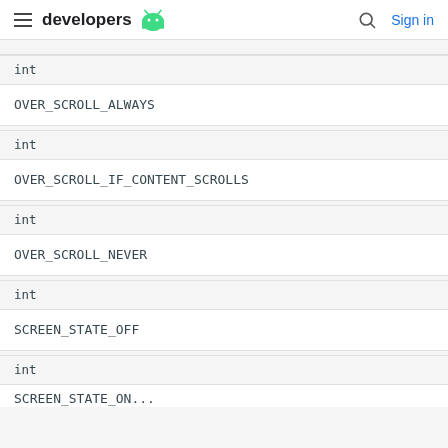developers [android logo] [search] Sign in
| Type | Constant |
| --- | --- |
| int | OVER_SCROLL_ALWAYS |
| int | OVER_SCROLL_IF_CONTENT_SCROLLS |
| int | OVER_SCROLL_NEVER |
| int | SCREEN_STATE_OFF |
| int | SCREEN_STATE_ON (partial) |